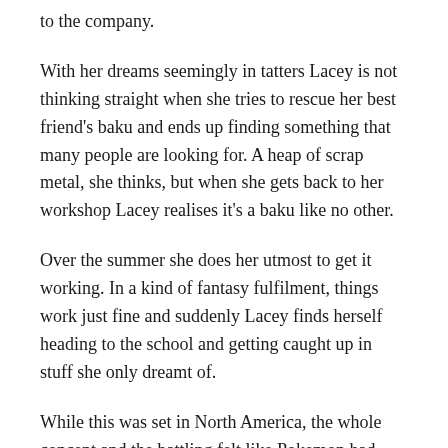to the company.
With her dreams seemingly in tatters Lacey is not thinking straight when she tries to rescue her best friend's baku and ends up finding something that many people are looking for. A heap of scrap metal, she thinks, but when she gets back to her workshop Lacey realises it's a baku like no other.
Over the summer she does her utmost to get it working. In a kind of fantasy fulfilment, things work just fine and suddenly Lacey finds herself heading to the school and getting caught up in stuff she only dreamt of.
While this was set in North America, the whole concept and the battling felt like Pokemon had been brought to life and given personalities. That in itself was great fun, and the dynamics between Lacey and